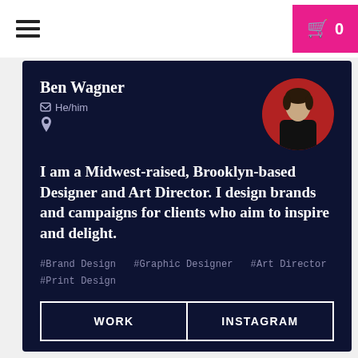Navigation bar with hamburger menu and cart button showing 0 items
Ben Wagner
He/him
(location icon)
I am a Midwest-raised, Brooklyn-based Designer and Art Director. I design brands and campaigns for clients who aim to inspire and delight.
#Brand Design  #Graphic Designer  #Art Director  #Print Design
WORK | INSTAGRAM